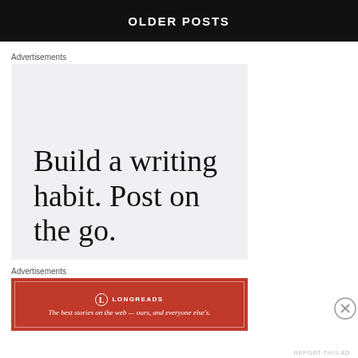OLDER POSTS
Advertisements
[Figure (illustration): Advertisement block with light gray/blue background containing large serif text reading 'Build a writing habit. Post on the go.']
Advertisements
[Figure (illustration): Longreads advertisement banner in red with logo and tagline: 'The best stories on the web — ours, and everyone else's.']
REPORT THIS AD